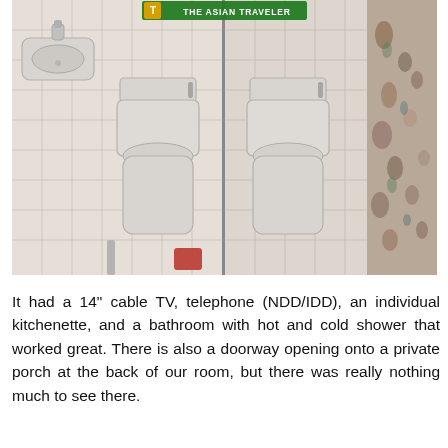[Figure (photo): Two side-by-side bathroom photos showing a toilet and sink on the left panel, and a toilet with a floral shower curtain on the right panel. A watermark 'THE ASIAN TRAVELER' is visible at the top center.]
It had a 14" cable TV, telephone (NDD/IDD), an individual kitchenette, and a bathroom with hot and cold shower that worked great. There is also a doorway opening onto a private porch at the back of our room, but there was really nothing much to see there.
Breakfast was not included in the price. This was not clear to me when I reserved. But nevertheless, we tried to order room service breakfast on our third day and they promptly accommodated us. We had Filipino meal Ph...